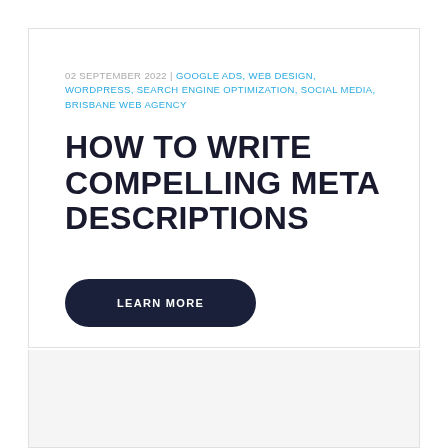02 SEPTEMBER 2022 | GOOGLE ADS, WEB DESIGN, WORDPRESS, SEARCH ENGINE OPTIMIZATION, SOCIAL MEDIA, BRISBANE WEB AGENCY
HOW TO WRITE COMPELLING META DESCRIPTIONS
LEARN MORE